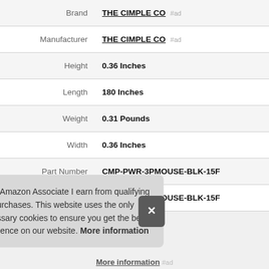| Attribute | Value |
| --- | --- |
| Brand | THE CIMPLE CO #ad |
| Manufacturer | THE CIMPLE CO #ad |
| Height | 0.36 Inches |
| Length | 180 Inches |
| Weight | 0.31 Pounds |
| Width | 0.36 Inches |
| Part Number | CMP-PWR-3PMOUSE-BLK-15F |
| Model | CMP-PWR-3PMOUSE-BLK-15F |
As an Amazon Associate I earn from qualifying purchases. This website uses the only necessary cookies to ensure you get the best experience on our website. More information
More information #ad